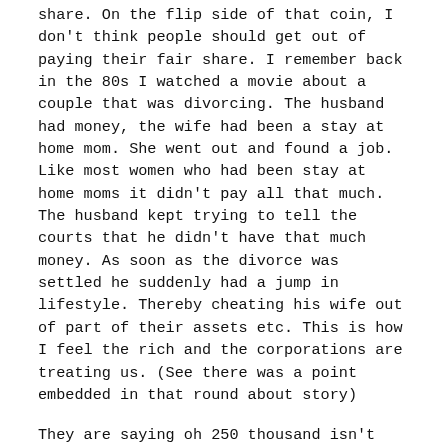share.  On the flip side of that coin, I don't think people should get out of paying their fair share.  I remember back in the 80s I watched a movie about a couple that was divorcing.  The husband had money, the wife had been a stay at home mom.  She went out and found a job.  Like most women who had been stay at home moms it didn't pay all that much.  The husband kept trying to tell the courts that he didn't have that much money.  As soon as the divorce was settled he suddenly had a jump in lifestyle.  Thereby cheating his wife out of part of their assets etc.  This is how I feel the rich and the corporations are treating us.  (See there was a point embedded in that round about story)
They are saying oh 250 thousand isn't that much and it isn't really "rich" especially if you have kids.  I wonder if they have any clue how that sounds to someone who makes less than 50 or 30 thousand?  The question becomes are you paying your taxes on your income.